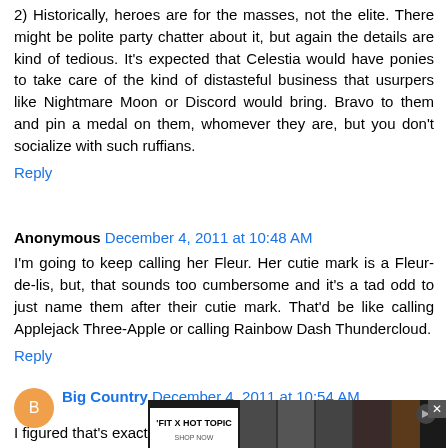2) Historically, heroes are for the masses, not the elite. There might be polite party chatter about it, but again the details are kind of tedious. It's expected that Celestia would have ponies to take care of the kind of distasteful business that usurpers like Nightmare Moon or Discord would bring. Bravo to them and pin a medal on them, whomever they are, but you don't socialize with such ruffians.
Reply
Anonymous December 4, 2011 at 10:48 AM
I'm going to keep calling her Fleur. Her cutie mark is a Fleur-de-lis, but, that sounds too cumbersome and it's a tad odd to just name them after their cutie mark. That'd be like calling Applejack Three-Apple or calling Rainbow Dash Thundercloud.
Reply
Big Country December 4, 2011 at 10:54 AM
[Figure (photo): Advertisement banner: FIT X HOT TOPIC shop now, showing people in dark clothing]
I figured that's exactly what they were referencing